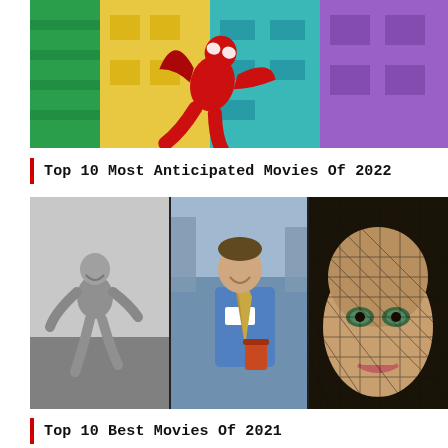[Figure (illustration): Colorful animated scene with a red superhero figure leaping/falling through a vibrant city background with yellow, green, blue, and purple colors — Spider-Man: Into the Spider-Verse style artwork]
Top 10 Most Anticipated Movies Of 2022
[Figure (photo): Three-panel collage of movie stills: left panel shows a black-and-white photo of a laughing boy running; center panel shows a smiling man in a blue shirt and name tag holding a coffee cup in a city (Free Guy); right panel shows a close-up of a woman's face through a netted veil with striking eyes]
Top 10 Best Movies Of 2021